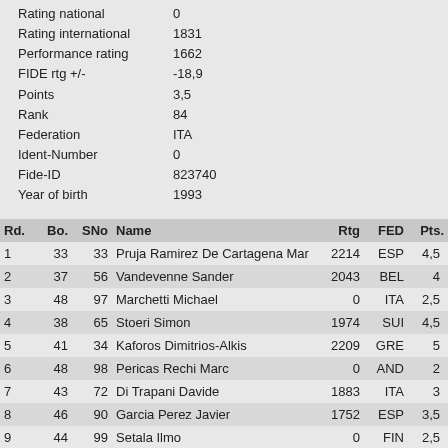Rating national   0
Rating international   1831
Performance rating   1662
FIDE rtg +/-   -18,9
Points   3,5
Rank   84
Federation   ITA
Ident-Number   0
Fide-ID   823740
Year of birth   1993
| Rd. | Bo. | SNo | Name | Rtg | FED | Pts. |
| --- | --- | --- | --- | --- | --- | --- |
| 1 | 33 | 33 | Pruja Ramirez De Cartagena Mar | 2214 | ESP | 4,5 |
| 2 | 37 | 56 | Vandevenne Sander | 2043 | BEL | 4 |
| 3 | 48 | 97 | Marchetti Michael | 0 | ITA | 2,5 |
| 4 | 38 | 65 | Stoeri Simon | 1974 | SUI | 4,5 |
| 5 | 41 | 34 | Kaforos Dimitrios-Alkis | 2209 | GRE | 5 |
| 6 | 48 | 98 | Pericas Rechi Marc | 0 | AND | 2 |
| 7 | 43 | 72 | Di Trapani Davide | 1883 | ITA | 3 |
| 8 | 46 | 90 | Garcia Perez Javier | 1752 | ESP | 3,5 |
| 9 | 44 | 99 | Setala Ilmo | 0 | FIN | 2,5 |